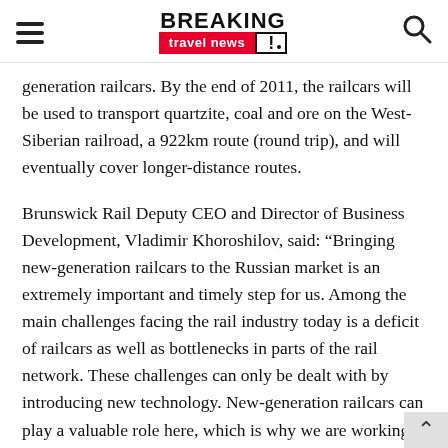Breaking Travel News
generation railcars. By the end of 2011, the railcars will be used to transport quartzite, coal and ore on the West-Siberian railroad, a 922km route (round trip), and will eventually cover longer-distance routes.
Brunswick Rail Deputy CEO and Director of Business Development, Vladimir Khoroshilov, said: “Bringing new-generation railcars to the Russian market is an extremely important and timely step for us. Among the main challenges facing the rail industry today is a deficit of railcars as well as bottlenecks in parts of the rail network. These challenges can only be dealt with by introducing new technology. New-generation railcars can play a valuable role here, which is why we are working actively to bring more of these cars to the Russian n